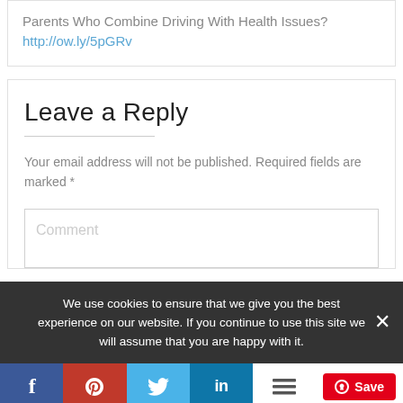Parents Who Combine Driving With Health Issues? http://ow.ly/5pGRv
Leave a Reply
Your email address will not be published. Required fields are marked *
Comment
We use cookies to ensure that we give you the best experience on our website. If you continue to use this site we will assume that you are happy with it.
[Figure (infographic): Social share bar with Facebook, Pinterest, Twitter, LinkedIn buttons and a Pinterest Save button]